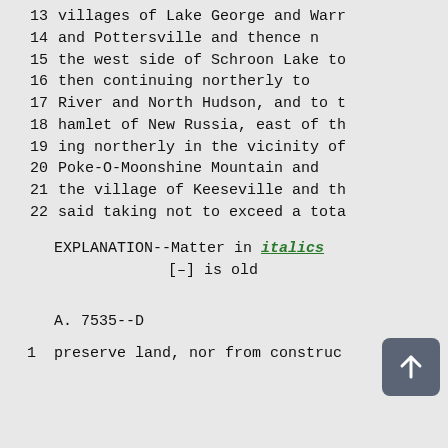13   villages of Lake George and Warr
14   and  Pottersville  and  thence n
15   the west side of Schroon Lake to
16   then  continuing  northerly  to
17   River and North Hudson, and to t
18   hamlet of New Russia, east of th
19   ing northerly in the vicinity of
20   Poke-O-Moonshine  Mountain  and
21   the village of Keeseville and th
22   said taking not to exceed a tota
EXPLANATION--Matter in italics is new; matter in brackets [–] is old
A. 7535--D
1   preserve land, nor from construc